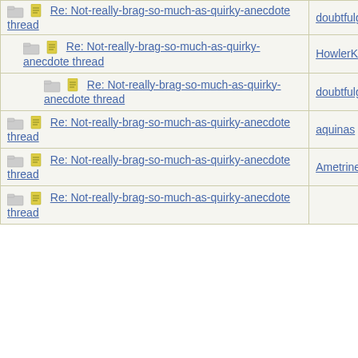| Topic | Author |
| --- | --- |
| Re: Not-really-brag-so-much-as-quirky-anecdote thread | doubtfulg |
| Re: Not-really-brag-so-much-as-quirky-anecdote thread | HowlerKa |
| Re: Not-really-brag-so-much-as-quirky-anecdote thread | doubtfulg |
| Re: Not-really-brag-so-much-as-quirky-anecdote thread | aquinas |
| Re: Not-really-brag-so-much-as-quirky-anecdote thread | Ametrine |
| Re: Not-really-brag-so-much-as-quirky-anecdote thread |  |